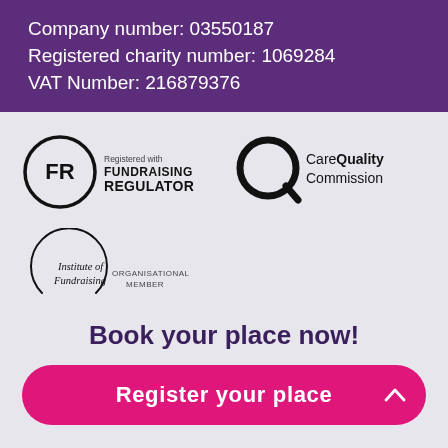Company number: 03550187
Registered charity number: 1069284
VAT Number: 216879376
[Figure (logo): Fundraising Regulator logo - circle with FR letters, text 'Registered with FUNDRAISING REGULATOR']
[Figure (logo): Care Quality Commission logo - stylised Q circle with text 'CareQuality Commission']
[Figure (logo): Institute of Fundraising Organisational Member logo - partial circle arc with text 'Institute of Fundraising ORGANISATIONAL MEMBER']
Book your place now!
Register your place